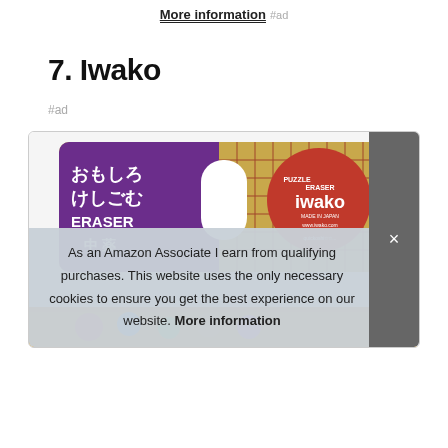More information #ad
7. Iwako
#ad
[Figure (photo): Iwako puzzle eraser product packaging. Purple and gold card with Japanese text 'おもしろけしごむ ERASER' on the left, and a red circular Iwako logo with 'PUZZLE ERASER iwako MADE IN JAPAN www.iwako.com' on the right. A white hanger hole cutout is visible in the center.]
As an Amazon Associate I earn from qualifying purchases. This website uses the only necessary cookies to ensure you get the best experience on our website. More information